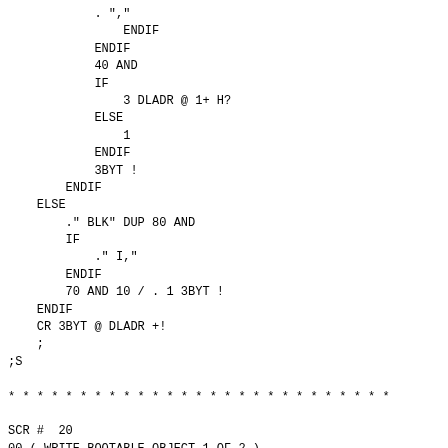. ","
                ENDIF
            ENDIF
            40 AND
            IF
                3 DLADR @ 1+ H?
            ELSE
                1
            ENDIF
            3BYT !
        ENDIF
    ELSE
        ." BLK" DUP 80 AND
        IF
            ." I,"
        ENDIF
        70 AND 10 / . 1 3BYT !
    ENDIF
    CR 3BYT @ DLADR +!
    ;
;S

* * * * * * * * * * * * * * * * * * * * * * * * * * *

SCR #  20
00 ( WRITE BOOTABLE OBJECT 1 OF 2 )
01
02 BASE @ FORTH DEFINITIONS HEX
03 SAVENFAs ( PRESERV ALL NFAS )
04 (  LATEST  0C  +ORIGIN ! )